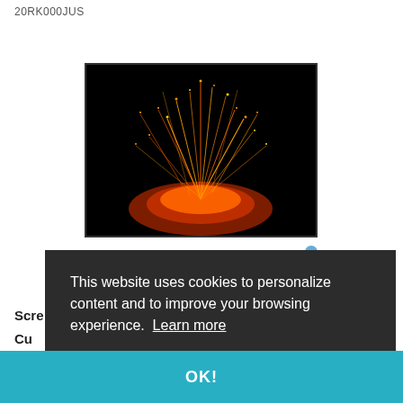20RK000JUS
[Figure (photo): A dark background image showing orange and yellow sparks or fire tendrils, resembling sparks from a fire or fireworks, displayed in a black-bordered monitor/screen frame.]
Click image to open expanded view
Scre
Cu
This website uses cookies to personalize content and to improve your browsing experience. Learn more
OK!